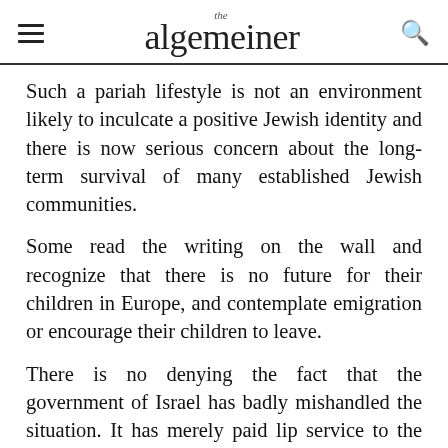the algemeiner
Such a pariah lifestyle is not an environment likely to inculcate a positive Jewish identity and there is now serious concern about the long-term survival of many established Jewish communities.
Some read the writing on the wall and recognize that there is no future for their children in Europe, and contemplate emigration or encourage their children to leave.
There is no denying the fact that the government of Israel has badly mishandled the situation. It has merely paid lip service to the problem and its diplomats abroad ceremoniously condemn anti-Semitism. But there has been no real effort to coordinate a global campaign to confront the